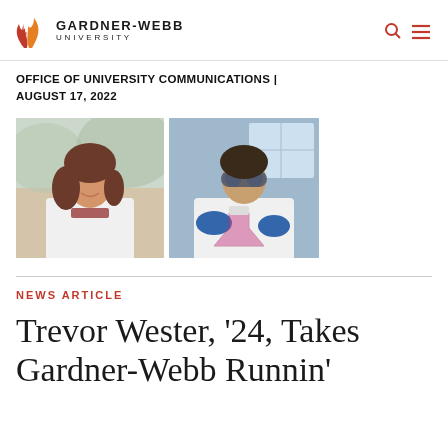GARDNER-WEBB UNIVERSITY
OFFICE OF UNIVERSITY COMMUNICATIONS | AUGUST 17, 2022
[Figure (photo): Two photos side by side: left shows a young woman in a white lab coat smiling outdoors; right shows a person wearing safety goggles and blue gloves holding a flask in a laboratory setting.]
NEWS ARTICLE
Trevor Wester, '24, Takes Gardner-Webb Runnin'